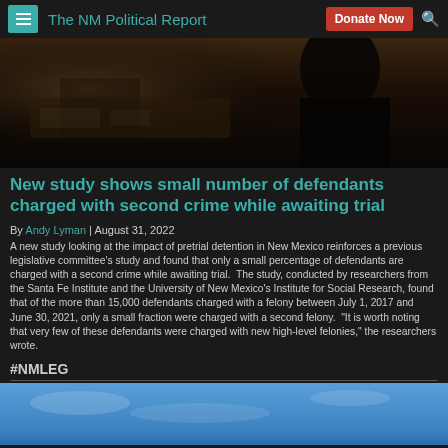The NM Political Report
[Figure (photo): Dark photo of a person sitting at a desk, silhouette against dark background]
New study shows small number of defendants charged with second crime while awaiting trial
By Andy Lyman | August 31, 2022
A new study looking at the impact of pretrial detention in New Mexico reinforces a previous legislative committee's study and found that only a small percentage of defendants are charged with a second crime while awaiting trial.  The study, conducted by researchers from the Santa Fe Institute and the University of New Mexico's Institute for Social Research, found that of the more than 15,000 defendants charged with a felony between July 1, 2017 and June 30, 2021, only a small fraction were charged with a second felony.  "It is worth noting that very few of these defendants were charged with new high-level felonies," the researchers wrote.
#NMLEG
[Figure (photo): Blue sky photo, bottom portion of page]